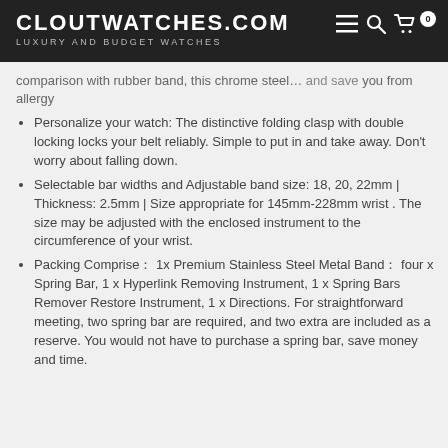CLOUTWATCHES.COM — LUXURY AND BUDGET WATCHES
comparison with rubber band, this chrome steel... and save you from allergy
Personalize your watch: The distinctive folding clasp with double locking locks your belt reliably. Simple to put in and take away. Don't worry about falling down.
Selectable bar widths and Adjustable band size: 18, 20, 22mm | Thickness: 2.5mm | Size appropriate for 145mm-228mm wrist . The size may be adjusted with the enclosed instrument to the circumference of your wrist.
Packing Comprise： 1x Premium Stainless Steel Metal Band： four x Spring Bar, 1 x Hyperlink Removing Instrument, 1 x Spring Bars Remover Restore Instrument, 1 x Directions. For straightforward meeting, two spring bar are required, and two extra are included as a reserve. You would not have to purchase a spring bar, save money and time.